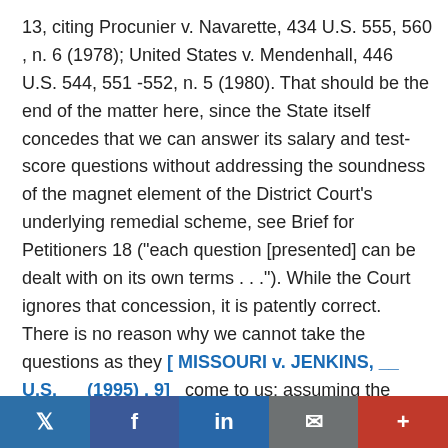13, citing Procunier v. Navarette, 434 U.S. 555, 560 , n. 6 (1978); United States v. Mendenhall, 446 U.S. 544, 551 -552, n. 5 (1980). That should be the end of the matter here, since the State itself concedes that we can answer its salary and test-score questions without addressing the soundness of the magnet element of the District Court's underlying remedial scheme, see Brief for Petitioners 18 ("each question [presented] can be dealt with on its own terms . . ."). While the Court ignores that concession, it is patently correct. There is no reason why we cannot take the questions as they [ MISSOURI v. JENKINS, __ U.S. __ (1995) , 9]   come to us; assuming the validity of the District Court's basic remedial concept, we can determine the significance of test scores and assess the salary orders in relation to that concept.
Of course, as we understand necessity in prudential matters like this, it comes in degrees, and I would not deny that
Twitter | Facebook | LinkedIn | Mail | +